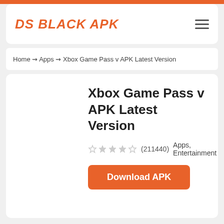DS BLACK APK
Home ⇝ Apps ⇝ Xbox Game Pass v APK Latest Version
Xbox Game Pass v APK Latest Version
☆☆☆☆☆ (211440)  Apps, Entertainment
Download APK